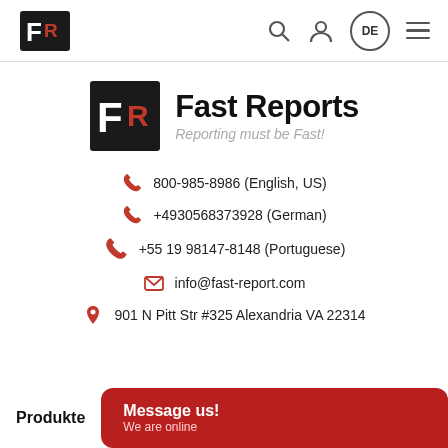Fast Reports navigation bar with logo, search, user, DE language, and menu icons
[Figure (logo): Fast Reports FR logo mark with bold company name 'Fast Reports' and tagline 'Reporting must be Fast!']
800-985-8986 (English, US)
+4930568373928 (German)
+55 19 98147-8148 (Portuguese)
info@fast-report.com
901 N Pitt Str #325 Alexandria VA 22314
Produkte
Message us! We are online